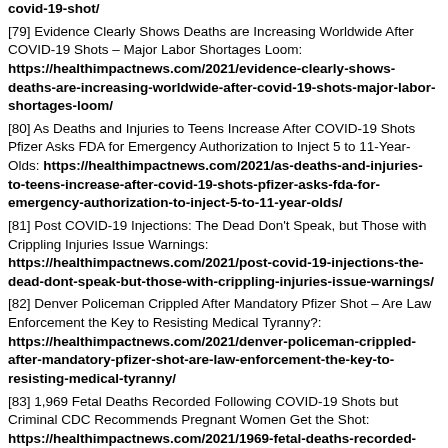covid-19-shot/
[79] Evidence Clearly Shows Deaths are Increasing Worldwide After COVID-19 Shots – Major Labor Shortages Loom: https://healthimpactnews.com/2021/evidence-clearly-shows-deaths-are-increasing-worldwide-after-covid-19-shots-major-labor-shortages-loom/
[80] As Deaths and Injuries to Teens Increase After COVID-19 Shots Pfizer Asks FDA for Emergency Authorization to Inject 5 to 11-Year-Olds: https://healthimpactnews.com/2021/as-deaths-and-injuries-to-teens-increase-after-covid-19-shots-pfizer-asks-fda-for-emergency-authorization-to-inject-5-to-11-year-olds/
[81] Post COVID-19 Injections: The Dead Don't Speak, but Those with Crippling Injuries Issue Warnings: https://healthimpactnews.com/2021/post-covid-19-injections-the-dead-dont-speak-but-those-with-crippling-injuries-issue-warnings/
[82] Denver Policeman Crippled After Mandatory Pfizer Shot – Are Law Enforcement the Key to Resisting Medical Tyranny?: https://healthimpactnews.com/2021/denver-policeman-crippled-after-mandatory-pfizer-shot-are-law-enforcement-the-key-to-resisting-medical-tyranny/
[83] 1,969 Fetal Deaths Recorded Following COVID-19 Shots but Criminal CDC Recommends Pregnant Women Get the Shot: https://healthimpactnews.com/2021/1969-fetal-deaths-recorded-following-covid-19-shots-but-criminal-fda-and-cdc-recommend-pregnant-women-get-the-shot/
[84] Study: COVID-19 Vaccines INCREASE Deaths and Hospitalizations from COVID-19 Based on Analysis of Most…